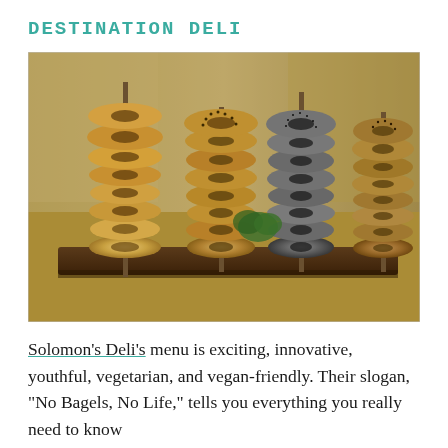DESTINATION DELI
[Figure (photo): Four tall stacks of bagels threaded on vertical metal rods, displayed on a wooden board in a deli. The bagels include plain, sesame, poppy seed, and everything varieties, with a blurred deli background.]
Solomon's Deli's menu is exciting, innovative, youthful, vegetarian, and vegan-friendly. Their slogan, “No Bagels, No Life,” tells you everything you really need to know